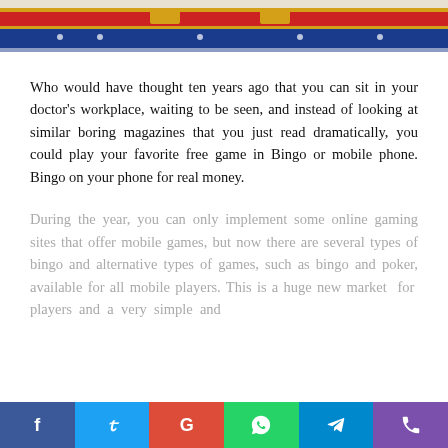[Figure (photo): Partial view of a colorful decorative image with red, blue, yellow elements at the top of the page]
Who would have thought ten years ago that you can sit in your doctor's workplace, waiting to be seen, and instead of looking at similar boring magazines that you just read dramatically, you could play your favorite free game in Bingo or mobile phone. Bingo on your phone for real money.
During the year, you can only implement some online gaming sites that offer mobile games, but now there are several types of bingo and alternative types of games, such as bingo and poker, available for all mobile players. This is a huge new market for players and a very simple and
f  y  G  (whatsapp)  (telegram)  (phone)